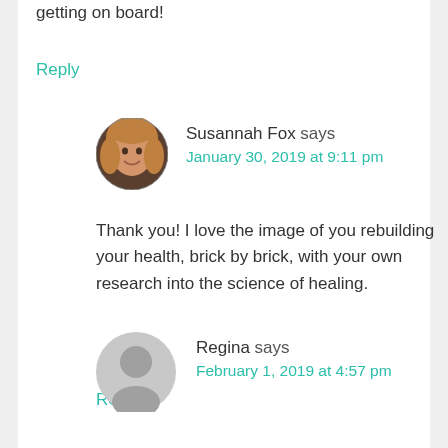getting on board!
Reply
Susannah Fox says
January 30, 2019 at 9:11 pm
Thank you! I love the image of you rebuilding your health, brick by brick, with your own research into the science of healing.
Reply
Regina says
February 1, 2019 at 4:57 pm